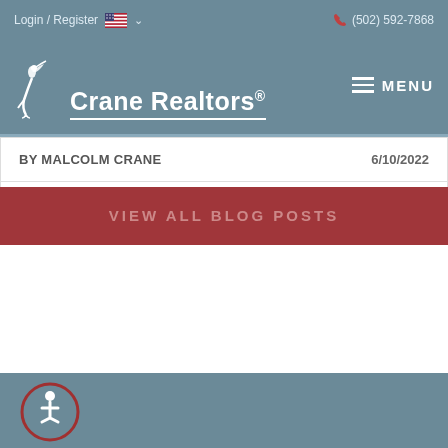Login / Register  (502) 592-7868
[Figure (logo): Crane Realtors logo with heron bird icon and text 'Crane Realtors®']
BY MALCOLM CRANE   6/10/2022
VIEW ALL BLOG POSTS
CONTACT